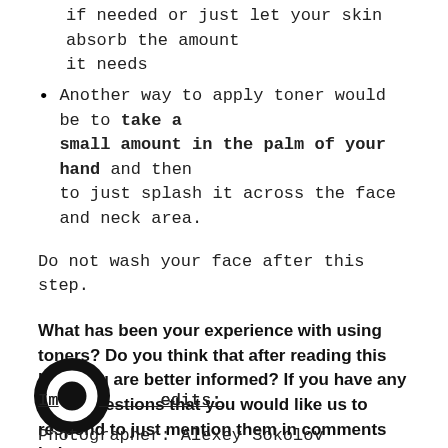if needed or just let your skin absorb the amount it needs
Another way to apply toner would be to take a small amount in the palm of your hand and then to just splash it across the face and neck area.
Do not wash your face after this step.
What has been your experience with using toners? Do you think that after reading this blog you are better informed? If you have any more questions that you would like us to respond to just mention them in comments below.
Wishing you happy and healthy skin days ahead!
[Figure (logo): Circular black logo/icon]
Image credits:
Photographer: Alexey Sokolov